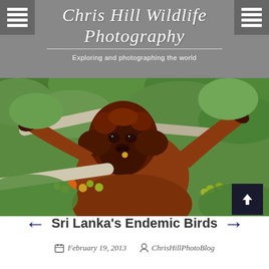Chris Hill Wildlife Photography — Exploring and photographing the world
[Figure (photo): Orangutan sitting in a tree with green foliage, eating fruit (green and orange berries), red-brown fur, looking upward]
Sri Lanka's Endemic Birds
February 19, 2013   ChrisHillPhotoBlog